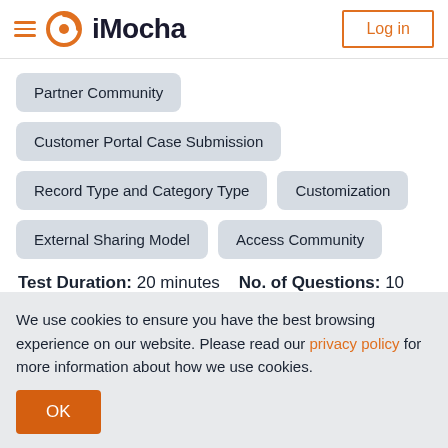iMocha | Log in
Partner Community
Customer Portal Case Submission
Record Type and Category Type
Customization
External Sharing Model
Access Community
Test Duration: 20 minutes   No. of Questions: 10
We use cookies to ensure you have the best browsing experience on our website. Please read our privacy policy for more information about how we use cookies.